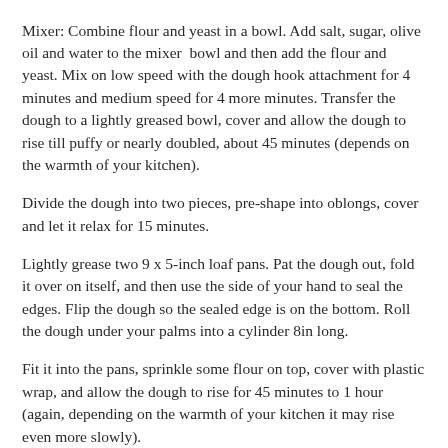Mixer: Combine flour and yeast in a bowl. Add salt, sugar, olive oil and water to the mixer bowl and then add the flour and yeast. Mix on low speed with the dough hook attachment for 4 minutes and medium speed for 4 more minutes. Transfer the dough to a lightly greased bowl, cover and allow the dough to rise till puffy or nearly doubled, about 45 minutes (depends on the warmth of your kitchen).
Divide the dough into two pieces, pre-shape into oblongs, cover and let it relax for 15 minutes.
Lightly grease two 9 x 5-inch loaf pans. Pat the dough out, fold it over on itself, and then use the side of your hand to seal the edges. Flip the dough so the sealed edge is on the bottom. Roll the dough under your palms into a cylinder 8in long.
Fit it into the pans, sprinkle some flour on top, cover with plastic wrap, and allow the dough to rise for 45 minutes to 1 hour (again, depending on the warmth of your kitchen it may rise even more slowly).
Preheat your oven to 375°F and bake the bread for 40 minutes. Remove the bread from the oven, and turn it out of the pan onto a rack to cool completely before serving.
The minis: